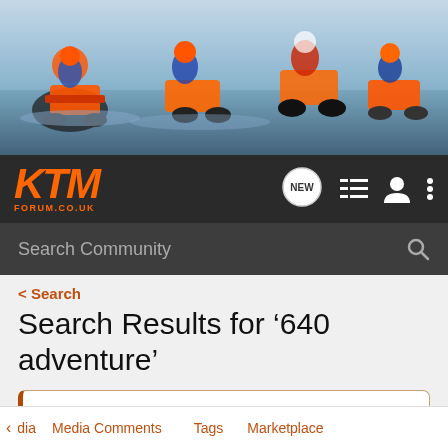[Figure (photo): KTM dirt bike riders action photo banner with multiple riders on orange and white KTM motorcycles against a sky background]
[Figure (logo): KTM Forum logo in orange italic text with FORUM.CO.UK subtitle, navigation icons including NEW chat bubble, list view, user icon, and dots menu]
Search Community
< Search
Search Results for ‘640 adventure’
Submissions are now being taken for AUGUST KTM OF THE MONTH
dia  Media Comments  Tags  Marketplace